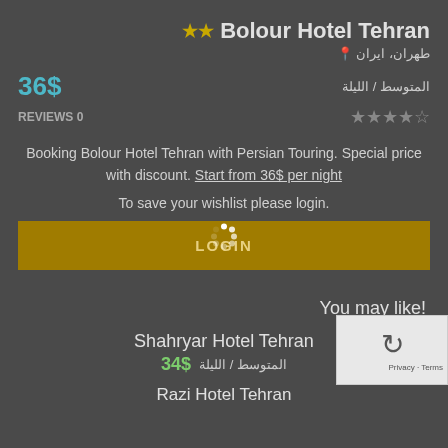★★ Bolour Hotel Tehran
طهران، ايران 📍
36$ المتوسط / الليلة
REVIEWS 0 ★★★★☆
Booking Bolour Hotel Tehran with Persian Touring. Special price with discount. Start from 36$ per night
.To save your wishlist please login
LOGIN
!You may like
Shahryar Hotel Tehran
34$ المتوسط / الليلة
Razi Hotel Tehran